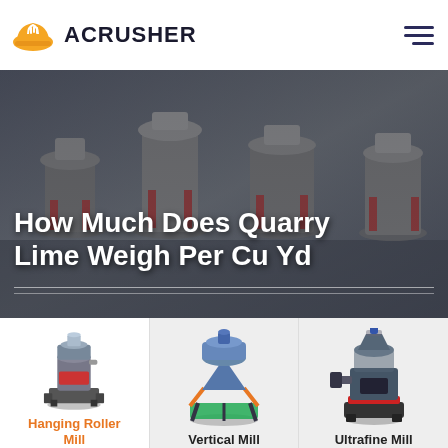ACRUSHER
How Much Does Quarry Lime Weigh Per Cu Yd
[Figure (photo): Industrial milling machines in a factory floor, shown as hero banner background]
[Figure (photo): Hanging Roller Mill machine product image]
Hanging Roller Mill
[Figure (photo): Vertical Mill machine product image]
Vertical Mill
[Figure (photo): Ultrafine Mill machine product image]
Ultrafine Mill